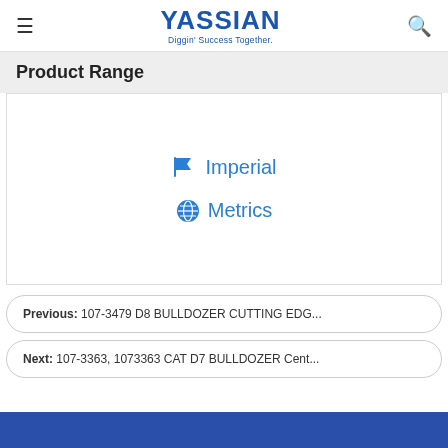YASSIAN — Diggin' Success Together.
Product Range
Imperial
Metrics
Previous: 107-3479 D8 BULLDOZER CUTTING EDG...
Next: 107-3363, 1073363 CAT D7 BULLDOZER Cent...